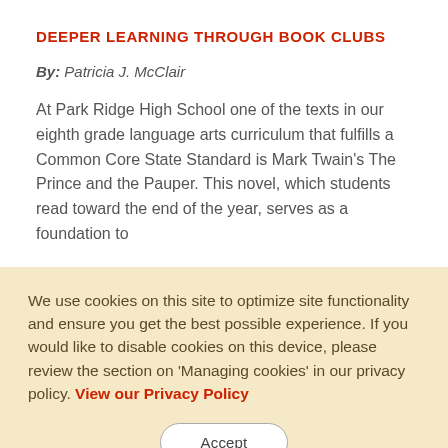DEEPER LEARNING THROUGH BOOK CLUBS
By: Patricia J. McClair
At Park Ridge High School one of the texts in our eighth grade language arts curriculum that fulfills a Common Core State Standard is Mark Twain's The Prince and the Pauper. This novel, which students read toward the end of the year, serves as a foundation to
We use cookies on this site to optimize site functionality and ensure you get the best possible experience. If you would like to disable cookies on this device, please review the section on 'Managing cookies' in our privacy policy. View our Privacy Policy
Accept